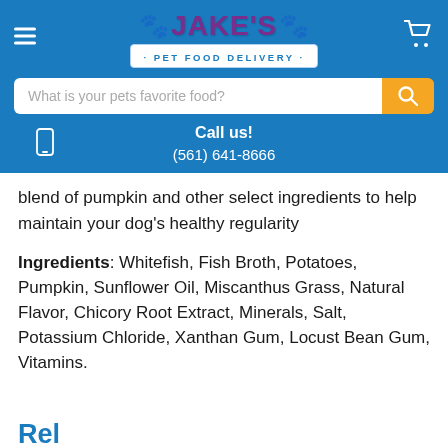[Figure (logo): Jake's Pet Food Delivery logo with orange paw prints, purple JAKE'S text, and blue banner reading PET FOOD DELIVERY]
What is your pets favorite food?
Call us! (561) 641-8666
blend of pumpkin and other select ingredients to help maintain your dog's healthy regularity
Ingredients: Whitefish, Fish Broth, Potatoes, Pumpkin, Sunflower Oil, Miscanthus Grass, Natural Flavor, Chicory Root Extract, Minerals, Salt, Potassium Chloride, Xanthan Gum, Locust Bean Gum, Vitamins.